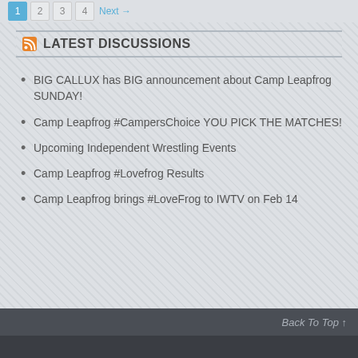1  2  3  4  Next →
LATEST DISCUSSIONS
BIG CALLUX has BIG announcement about Camp Leapfrog SUNDAY!
Camp Leapfrog #CampersChoice YOU PICK THE MATCHES!
Upcoming Independent Wrestling Events
Camp Leapfrog #Lovefrog Results
Camp Leapfrog brings #LoveFrog to IWTV on Feb 14
Back To Top ↑